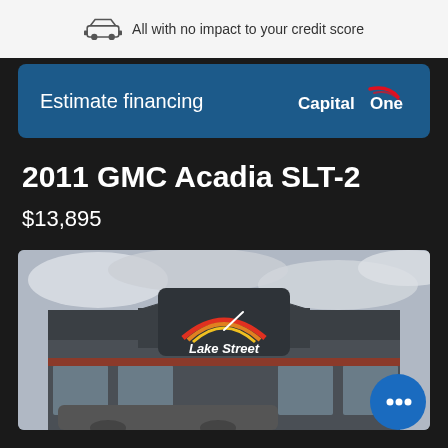All with no impact to your credit score
Estimate financing
2011 GMC Acadia SLT-2
$13,895
[Figure (photo): Lake Street Motors dealership exterior building with signage showing rainbow arc logo and 'Lake Street Motors' text, storefront with large windows, cloudy sky, vehicle in foreground]